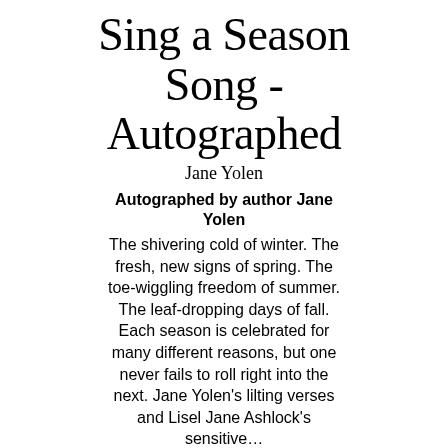Sing a Season Song - Autographed
Jane Yolen
Autographed by author Jane Yolen
The shivering cold of winter. The fresh, new signs of spring. The toe-wiggling freedom of summer. The leaf-dropping days of fall. Each season is celebrated for many different reasons, but one never fails to roll right into the next. Jane Yolen's lilting verses and Lisel Jane Ashlock's sensitive…
Item No. 9781568462554
$19.99